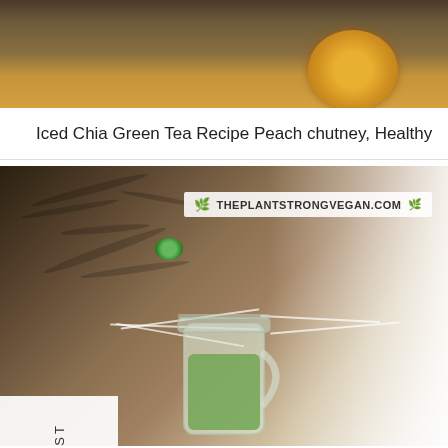[Figure (photo): Top portion of an image showing a orange/yellow round fruit (possibly peach or similar) on a wooden surface with dark blurred background]
Iced Chia Green Tea Recipe Peach chutney, Healthy
[Figure (photo): Photo of a fluffy tabby cat with green eyes looking at camera, blurred background with bright window light, website label 'THEPLANTSTRONGVEGAN.COM' with leaf icon in top right. Navigation labels 'PREVIOUS POST' on left side and 'NEXT POST' on right side. Bottom portion shows a mason jar with green liquid (iced green tea).]
PREVIOUS POST
NEXT POST